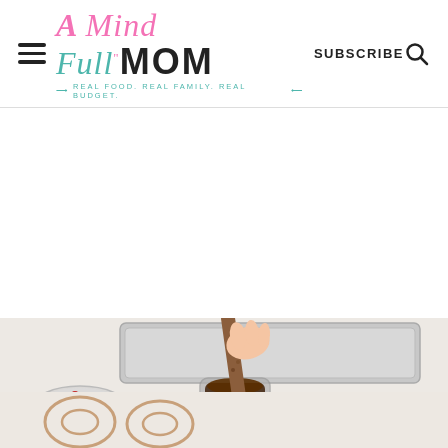A Mind Full Mom — REAL FOOD. REAL FAMILY. REAL BUDGET. — SUBSCRIBE [search icon]
[Figure (photo): A hand dipping a pretzel rod into a glass jar of melted chocolate, with a bowl of red candy pieces and a baking sheet in the background on a white marble surface.]
[Figure (photo): Bottom portion showing pretzel rods and small round pretzels on a light surface, partially visible.]